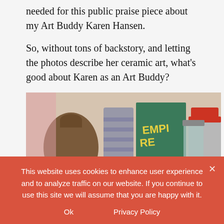needed for this public praise piece about my Art Buddy Karen Hansen.
So, without tons of backstory, and letting the photos describe her ceramic art, what's good about Karen as an Art Buddy?
[Figure (photo): Photo of several ceramic pots/canisters with textured surfaces and decorative lids (spiral, leaf, ring handles), displayed on a shelf with vintage tins and jars in the background.]
This website uses cookies to enhance user experience and to analyze traffic on our website. If you continue to use this site we will assume that you are happy with it.
Ok   Privacy Policy